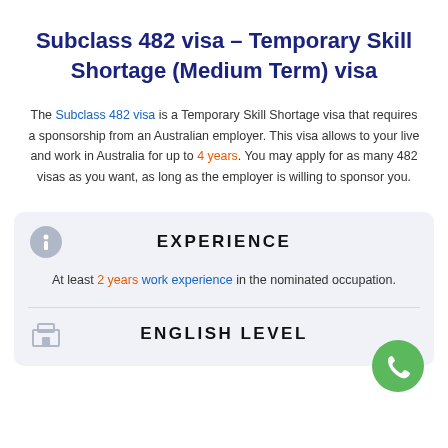Subclass 482 visa – Temporary Skill Shortage (Medium Term) visa
The Subclass 482 visa is a Temporary Skill Shortage visa that requires a sponsorship from an Australian employer. This visa allows to your live and work in Australia for up to 4 years. You may apply for as many 482 visas as you want, as long as the employer is willing to sponsor you.
EXPERIENCE
At least 2 years work experience in the nominated occupation.
ENGLISH LEVEL